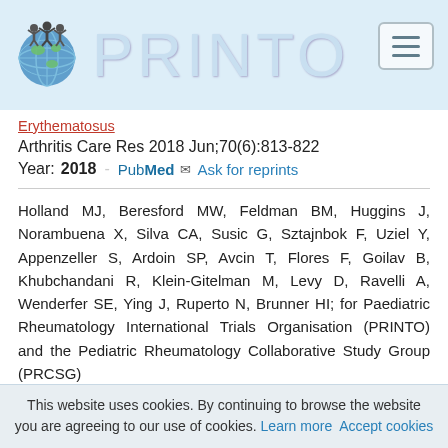PRINTO
Erythematosus
Arthritis Care Res 2018 Jun;70(6):813-822
Year: 2018 - PubMed  Ask for reprints
Holland MJ, Beresford MW, Feldman BM, Huggins J, Norambuena X, Silva CA, Susic G, Sztajnbok F, Uziel Y, Appenzeller S, Ardoin SP, Avcin T, Flores F, Goilav B, Khubchandani R, Klein-Gitelman M, Levy D, Ravelli A, Wenderfer SE, Ying J, Ruperto N, Brunner HI; for Paediatric Rheumatology International Trials Organisation (PRINTO) and the Pediatric Rheumatology Collaborative Study Group (PRCSG)
Measuring Disease Damage and its Severity in Childhood-
This website uses cookies. By continuing to browse the website you are agreeing to our use of cookies. Learn more  Accept cookies